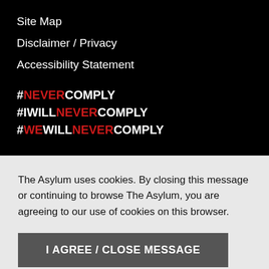Site Map
Disclaimer / Privacy
Accessibility Statement
#NEVERCOMPLY
#IWILLNEVERCOMPLY
#WEWILLNEVERCOMPLY
The Asylum uses cookies. By closing this message or continuing to browse The Asylum, you are agreeing to our use of cookies on this browser.
I AGREE / CLOSE MESSAGE